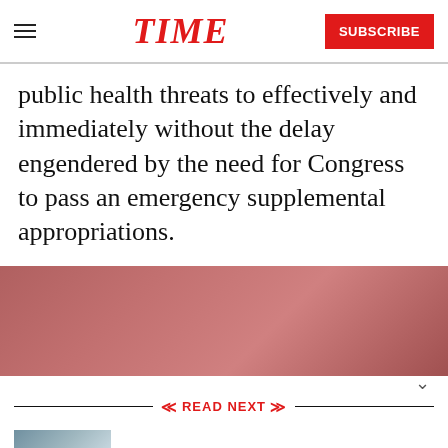TIME  SUBSCRIBE
public health threats to effectively and immediately without the delay engendered by the need for Congress to pass an emergency supplemental appropriations.
[Figure (photo): Blurred reddish-pink background image, partially visible article photo]
READ NEXT
[Figure (photo): Thumbnail image showing a hand holding a drug injector pen]
How to Stop Immoral Drug Price Increases